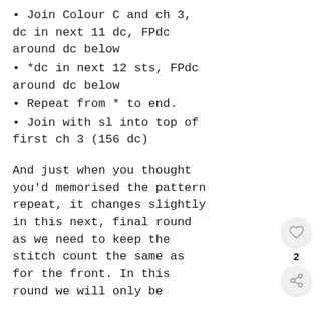Join Colour C and ch 3, dc in next 11 dc, FPdc around dc below
*dc in next 12 sts, FPdc around dc below
Repeat from * to end.
Join with sl into top of first ch 3 (156 dc)
And just when you thought you’d memorised the pattern repeat, it changes slightly in this next, final round as we need to keep the stitch count the same as for the front. In this round we will only be